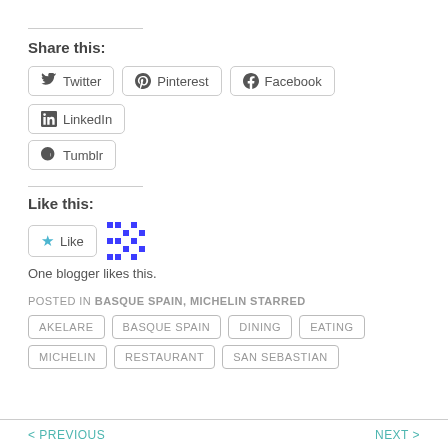Share this:
Twitter
Pinterest
Facebook
LinkedIn
Tumblr
Like this:
One blogger likes this.
POSTED IN BASQUE SPAIN, MICHELIN STARRED
AKELARE
BASQUE SPAIN
DINING
EATING
MICHELIN
RESTAURANT
SAN SEBASTIAN
< PREVIOUS    NEXT >